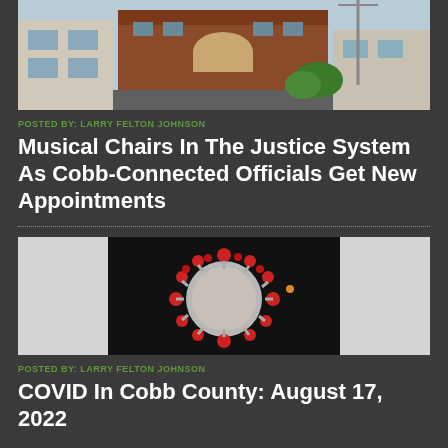[Figure (photo): Photograph of a brick building in an urban setting, partially visible at top of page]
POSTED BY: LARRY FELTON JOHNSON
Musical Chairs In The Justice System As Cobb-Connected Officials Get New Appointments
[Figure (photo): Image of a COVID-19 coronavirus particle rendered in 3D, red spikes on gray sphere, centered on dark background with white panels on sides]
POSTED BY: LARRY FELTON JOHNSON
COVID In Cobb County: August 17, 2022